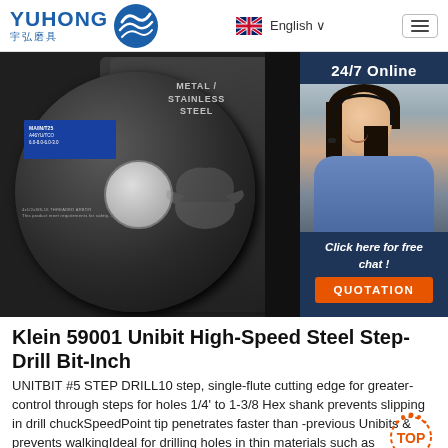[Figure (logo): YUHONG 宇弘磨具 logo with blue wave/shell icon]
English ∨
[Figure (photo): Grinding/cutting discs (abrasive wheels) stacked, metal/stainless steel label visible; with customer service chat widget overlay showing woman with headset, 24/7 Online text, Click here for free chat!, QUOTATION button]
Klein 59001 Unibit High-Speed Steel Step-Drill Bit-Inch
UNITBIT #5 STEP DRILL10 step, single-flute cutting edge for greater-control through steps for holes 1/4' to 1-3/8 Hex shank prevents slipping in drill chuckSpeedPoint tip penetrates faster than -previous Unibits & prevents walkingIdeal for drilling holes in thin materials such as